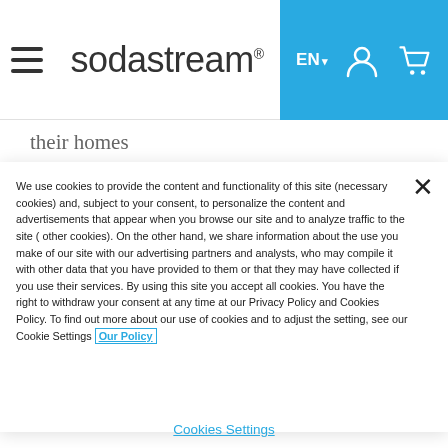SodaStream EN [hamburger menu, user icon, cart icon]
their homes
We use cookies to provide the content and functionality of this site (necessary cookies) and, subject to your consent, to personalize the content and advertisements that appear when you browse our site and to analyze traffic to the site ( other cookies). On the other hand, we share information about the use you make of our site with our advertising partners and analysts, who may compile it with other data that you have provided to them or that they may have collected if you use their services. By using this site you accept all cookies. You have the right to withdraw your consent at any time at our Privacy Policy and Cookies Policy. To find out more about our use of cookies and to adjust the setting, see our Cookie Settings Our Policy
Cookies Settings